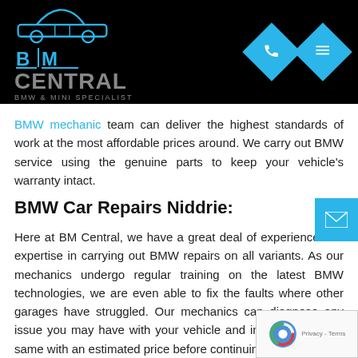[Figure (logo): BM Central BMW & Mini Specialist logo with car silhouette icon on black background]
BMW mechanic team can deliver the highest standards of work at the most affordable prices around. We carry out BMW service using the genuine parts to keep your vehicle's warranty intact.
BMW Car Repairs Niddrie:
Here at BM Central, we have a great deal of experience and expertise in carrying out BMW repairs on all variants. As our mechanics undergo regular training on the latest BMW technologies, we are even able to fix the faults where other garages have struggled. Our mechanics can diagnose any issue you may have with your vehicle and inform you of the same with an estimated price before continuing any work that